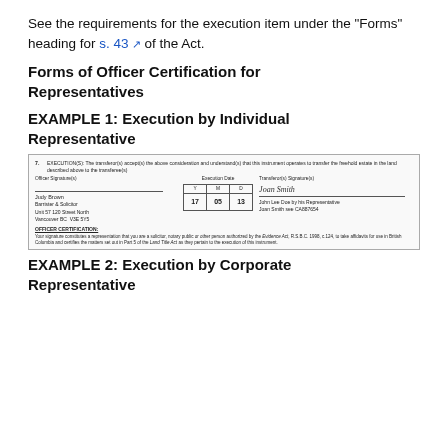See the requirements for the execution item under the "Forms" heading for s. 43 of the Act.
Forms of Officer Certification for Representatives
EXAMPLE 1: Execution by Individual Representative
[Figure (other): Scanned form showing execution by individual representative. Includes officer signature area (Judy Brown, Barrister & Solicitor, Unit 57 120 Street North, Vancouver BC V3E 5Y5), execution date table (Y:17, M:05, D:13), and transferor signature area (Joan Smith signature, John Lee Doe by his Representative Joan Smith see CA887654). Officer Certification text below.]
EXAMPLE 2: Execution by Corporate Representative